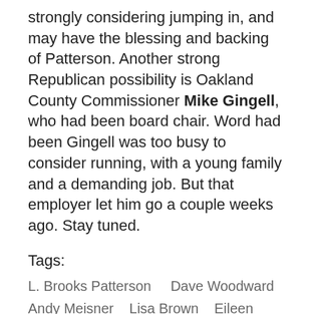strongly considering jumping in, and may have the blessing and backing of Patterson. Another strong Republican possibility is Oakland County Commissioner Mike Gingell, who had been board chair. Word had been Gingell was too busy to consider running, with a young family and a demanding job. But that employer let him go a couple weeks ago. Stay tuned.
Tags:
L. Brooks Patterson    Dave Woodward
Andy Meisner    Lisa Brown    Eileen Kowall
Ruth Johnson    Mike Bouchard
Mike McCready    Mike Gingell
Oakland County Executive